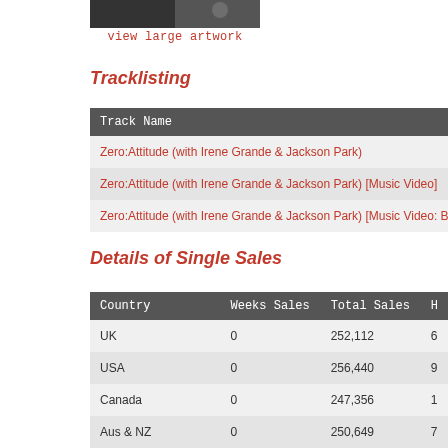[Figure (photo): Album artwork thumbnail (partially visible, dark/grayscale image)]
view large artwork
Tracklisting
| Track Name |
| --- |
| Zero:Attitude (with Irene Grande & Jackson Park) |
| Zero:Attitude (with Irene Grande & Jackson Park) [Music Video] |
| Zero:Attitude (with Irene Grande & Jackson Park) [Music Video: Behind The Sce... |
Details of Single Sales
| Country | Weeks Sales | Total Sales | H |
| --- | --- | --- | --- |
| UK | 0 | 252,112 | 6 |
| USA | 0 | 256,440 | 9 |
| Canada | 0 | 247,356 | 1 |
| Aus & NZ | 0 | 250,649 | 7 |
| South America | 0 | 249,279 | 6 |